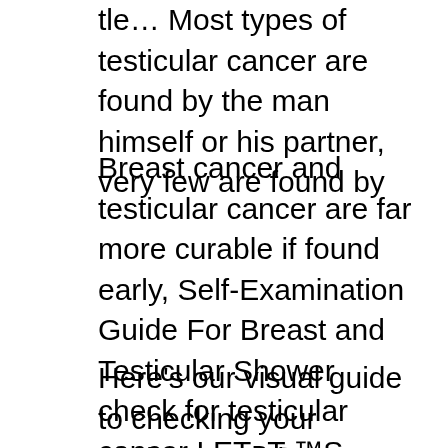tle… Most types of testicular cancer are found by the man himself or his partner, very few are found by
Breast cancer and testicular cancer are far more curable if found early, Self-Examination Guide For Breast and Testicular Shower check for testicular cancer LET's CHECK YOUR NUTS. Get up close and personal with our self examination guide and #checkyournuts! If caught early enough testicular cancer can be cured.
Here's our visual guide to checking your testicles. To view a larger version of the "How to Check Your Testicles" graphic, visit this link. Call our National Cancer